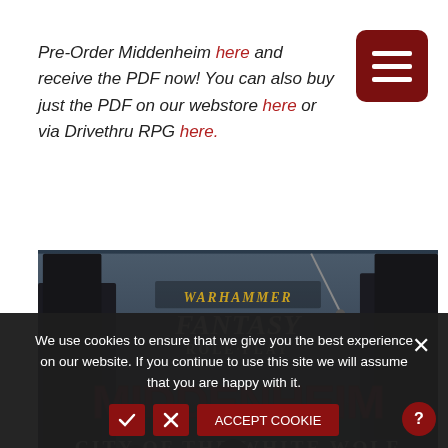Pre-Order Middenheim here and receive the PDF now! You can also buy just the PDF on our webstore here or via Drivethru RPG here.
[Figure (illustration): Warhammer Fantasy Role-Play book cover showing 'Middenheim: City of the White Wolf' with dark fantasy city background artwork]
We use cookies to ensure that we give you the best experience on our website. If you continue to use this site we will assume that you are happy with it.